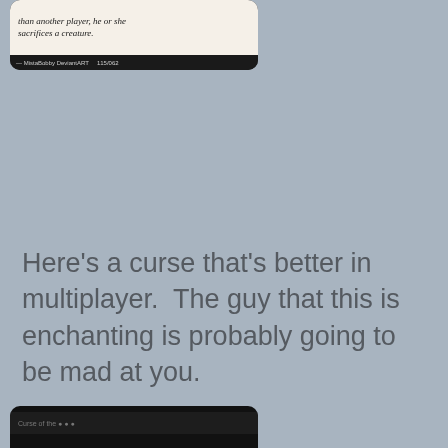[Figure (photo): Partial view of a Magic: The Gathering card (black bordered) showing italic text: 'than another player, he or she sacrifices a creature.' and small print 'MistaBobby DeviantART 115/062' at bottom.]
Here's a curse that's better in multiplayer.  The guy that this is enchanting is probably going to be mad at you.
[Figure (photo): Partial view of another Magic: The Gathering card (black bordered), only the very top edge visible at the bottom of the page.]